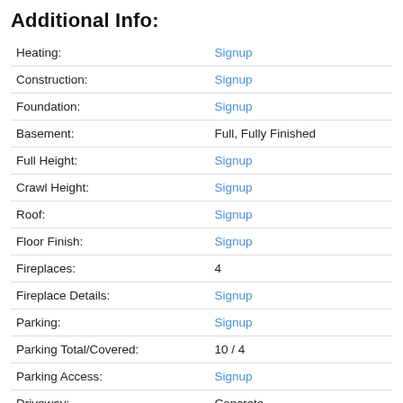Additional Info:
| Field | Value |
| --- | --- |
| Heating: | Signup |
| Construction: | Signup |
| Foundation: | Signup |
| Basement: | Full, Fully Finished |
| Full Height: | Signup |
| Crawl Height: | Signup |
| Roof: | Signup |
| Floor Finish: | Signup |
| Fireplaces: | 4 |
| Fireplace Details: | Signup |
| Parking: | Signup |
| Parking Total/Covered: | 10 / 4 |
| Parking Access: | Signup |
| Driveway: | Concrete |